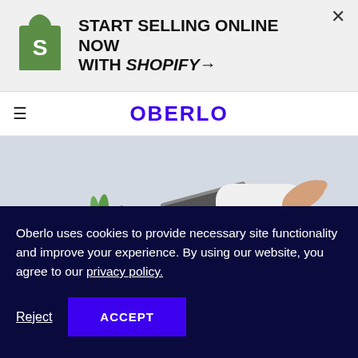[Figure (logo): Shopify ad banner with logo and text START SELLING ONLINE NOW WITH SHOPIFY→ and a close X button]
OBERLO
[Figure (photo): Person sitting on a couch with a laptop on their lap, gesturing with hands, with a plant in the background]
Oberlo uses cookies to provide necessary site functionality and improve your experience. By using our website, you agree to our privacy policy.
Reject   ACCEPT